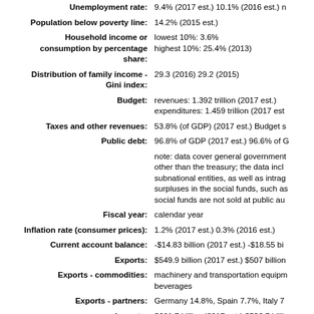| Field | Value |
| --- | --- |
| Unemployment rate: | 9.4% (2017 est.) 10.1% (2016 est.) n... |
| Population below poverty line: | 14.2% (2015 est.) |
| Household income or consumption by percentage share: | lowest 10%: 3.6%
highest 10%: 25.4% (2013) |
| Distribution of family income - Gini index: | 29.3 (2016) 29.2 (2015) |
| Budget: | revenues: 1.392 trillion (2017 est.)
expenditures: 1.459 trillion (2017 est... |
| Taxes and other revenues: | 53.8% (of GDP) (2017 est.) Budget s... |
| Public debt: | 96.8% of GDP (2017 est.) 96.6% of G... |
|  | note: data cover general government... other than the treasury; the data incl... subnational entities, as well as intrag... surpluses in the social funds, such as... social funds are not sold at public au... |
| Fiscal year: | calendar year |
| Inflation rate (consumer prices): | 1.2% (2017 est.) 0.3% (2016 est.) |
| Current account balance: | -$14.83 billion (2017 est.) -$18.55 bi... |
| Exports: | $549.9 billion (2017 est.) $507 billion... |
| Exports - commodities: | machinery and transportation equipm... beverages |
| Exports - partners: | Germany 14.8%, Spain 7.7%, Italy 7... |
| Imports: | $601.7 billion (2017 est.) $536.7 billi... |
| Imports - commodities: | machinery and equipment, vehicles... |